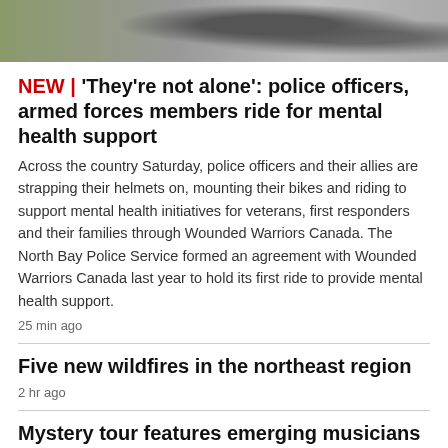[Figure (photo): Aerial or top-down photo of cyclists riding on a road, visible bicycle wheels and riders from above.]
NEW | 'They're not alone': police officers, armed forces members ride for mental health support
Across the country Saturday, police officers and their allies are strapping their helmets on, mounting their bikes and riding to support mental health initiatives for veterans, first responders and their families through Wounded Warriors Canada. The North Bay Police Service formed an agreement with Wounded Warriors Canada last year to hold its first ride to provide mental health support.
25 min ago
Five new wildfires in the northeast region
2 hr ago
Mystery tour features emerging musicians
1 hr ago